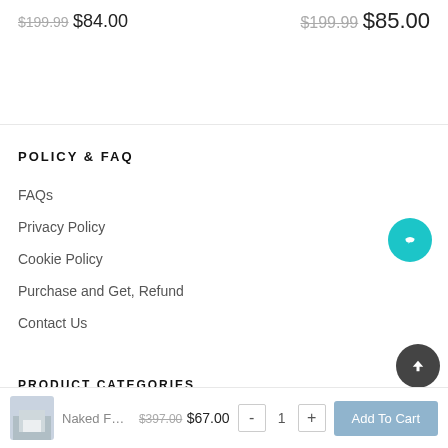$199.99  $84.00
$199.99  $85.00
POLICY & FAQ
FAQs
Privacy Policy
Cookie Policy
Purchase and Get, Refund
Contact Us
Naked Forex Inner Circ   $397.00  $67.00
- 1 +  Add To Cart
PRODUCT CATEGORIES